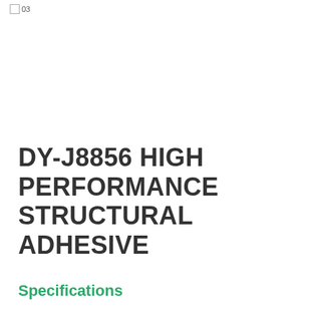03
DY-J8856 HIGH PERFORMANCE STRUCTURAL ADHESIVE
Specifications